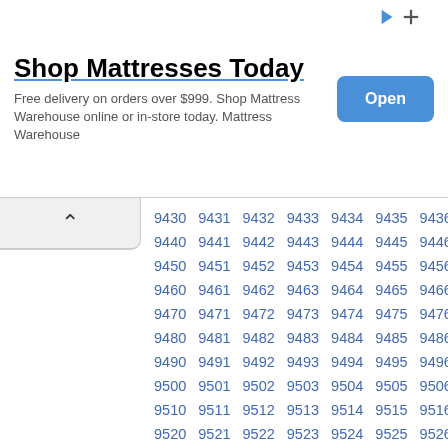[Figure (other): Advertisement banner for Mattress Warehouse: 'Shop Mattresses Today. Free delivery on orders over $999. Shop Mattress Warehouse online or in-store today. Mattress Warehouse' with an 'Open' button.]
| 9430 | 9431 | 9432 | 9433 | 9434 | 9435 | 9436 | 9437 | 9438 | 9439 |
| 9440 | 9441 | 9442 | 9443 | 9444 | 9445 | 9446 | 9447 | 9448 | 9449 |
| 9450 | 9451 | 9452 | 9453 | 9454 | 9455 | 9456 | 9457 | 9458 | 9459 |
| 9460 | 9461 | 9462 | 9463 | 9464 | 9465 | 9466 | 9467 | 9468 | 9469 |
| 9470 | 9471 | 9472 | 9473 | 9474 | 9475 | 9476 | 9477 | 9478 | 9479 |
| 9480 | 9481 | 9482 | 9483 | 9484 | 9485 | 9486 | 9487 | 9488 | 9489 |
| 9490 | 9491 | 9492 | 9493 | 9494 | 9495 | 9496 | 9497 | 9498 | 9499 |
| 9500 | 9501 | 9502 | 9503 | 9504 | 9505 | 9506 | 9507 | 9508 | 9509 |
| 9510 | 9511 | 9512 | 9513 | 9514 | 9515 | 9516 | 9517 | 9518 | 9519 |
| 9520 | 9521 | 9522 | 9523 | 9524 | 9525 | 9526 | 9527 | 9528 | 9529 |
| 9530 | 9531 | 9532 | 9533 | 9534 | 9535 | 9536 | 9537 | 9538 | 9539 |
| 9540 | 9541 | 9542 | 9543 | 9544 | 9545 | 9546 | 9547 | 9548 | 9549 |
| 9550 | 9551 | 9552 | 9553 | 9554 | 9555 | 9556 | 9557 | 9558 | 9559 |
| 9560 | 9561 | 9562 | 9563 | 9564 | 9565 | 9566 | 9567 | 9568 | 9569 |
| 9570 | 9571 | 9572 | 9573 | 9574 | 9575 | 9576 | 9577 | 9578 | 9579 |
| 9580 | 9581 | 9582 | 9583 | 9584 | 9585 | 9586 | 9587 | 9588 | 9589 |
| 9590 | 9591 | 9592 | 9593 | 9594 | 9595 | 9596 | 9597 | 9598 | 9599 |
| 9600 | 9601 | 9602 | 9603 | 9604 | 9605 | 9606 | 9607 | 9608 | 9609 |